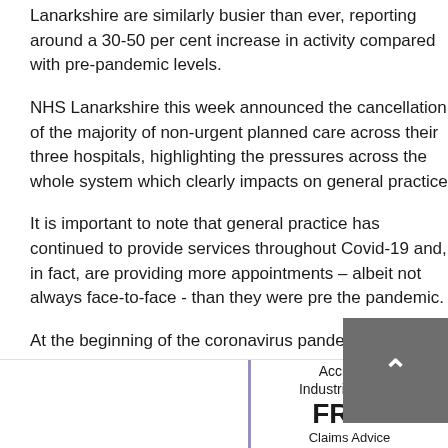Lanarkshire are similarly busier than ever, reporting around a 30-50 per cent increase in activity compared with pre-pandemic levels.
NHS Lanarkshire this week announced the cancellation of the majority of non-urgent planned care across their three hospitals, highlighting the pressures across the whole system which clearly impacts on general practice.
It is important to note that general practice has continued to provide services throughout Covid-19 and, in fact, are providing more appointments – albeit not always face-to-face - than they were pre the pandemic.
At the beginning of the coronavirus pandemic, the Scottish Government asked all GP practices in Scotland to increase their use of remote consultations by telephone or video means most people are now receiving the NHS care advice they need from their own home to reduce the s Covid-19 in the community.
Accident? Industrial disease FREE Claims Advice